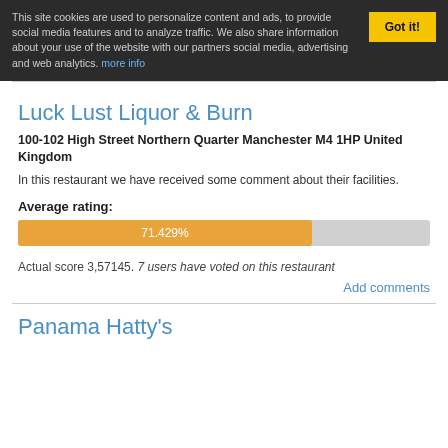This site cookies are used to personalize content and ads, to provide social media features and to analyze traffic. We also share information about your use of the website with our partners social media, advertising and web analytics. more info
Got it!
Luck Lust Liquor & Burn
100-102 High Street Northern Quarter Manchester M4 1HP United Kingdom
In this restaurant we have received some comment about their facilities.
Average rating:
[Figure (bar-chart): Average rating]
Actual score 3,57145. 7 users have voted on this restaurant
Add comments
Panama Hatty's